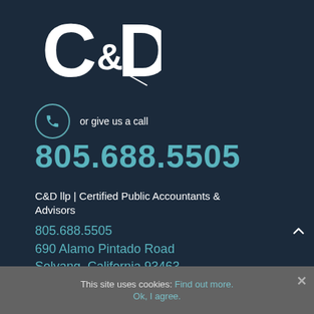[Figure (logo): C&D logo in white text on dark navy background]
or give us a call
805.688.5505
C&D llp | Certified Public Accountants & Advisors
805.688.5505
690 Alamo Pintado Road
Solvang, California 93463
This site uses cookies: Find out more. Ok, I agree.